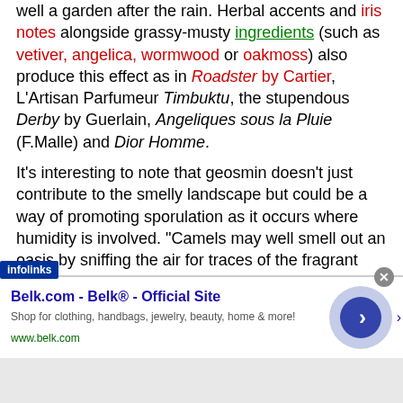well a garden after the rain. Herbal accents and iris notes alongside grassy-musty ingredients (such as vetiver, angelica, wormwood or oakmoss) also produce this effect as in Roadster by Cartier, L'Artisan Parfumeur Timbuktu, the stupendous Derby by Guerlain, Angeliques sous la Pluie (F.Malle) and Dior Homme.
It's interesting to note that geosmin doesn't just contribute to the smelly landscape but could be a way of promoting sporulation as it occurs where humidity is involved. "Camels may well smell out an oasis by sniffing the air for traces of the fragrant metabolite. While camels quench their thirst, hordes of Streptomyces spores will be supped with the water or will find a way to stick onto the animals' hides. In this way, spores can be carried for miles. In the same way, some cacti flowers may also use the geosmin scent to fool insects, in a fragrant mimicry. Indeed, insects are attracted to the
[Figure (other): Advertisement banner for Belk.com with infolinks branding, showing 'Belk.com - Belk® - Official Site' ad with a circular arrow button and close button]